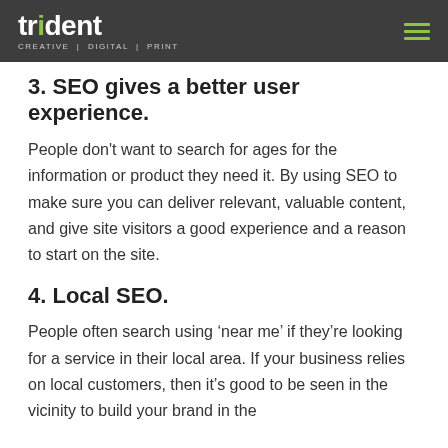trident CREATIVE | DIGITAL | PRINT
3. SEO gives a better user experience.
People don't want to search for ages for the information or product they need it. By using SEO to make sure you can deliver relevant, valuable content, and give site visitors a good experience and a reason to start on the site.
4. Local SEO.
People often search using ‘near me’ if they’re looking for a service in their local area. If your business relies on local customers, then it’s good to be seen in the vicinity to build your brand in the